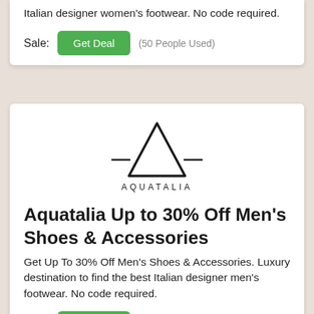Italian designer women's footwear. No code required.
Sale: Get Deal (50 People Used)
[Figure (logo): Aquatalia logo: a triangle letter A with horizontal bar lines extending from each side, and the word AQUATALIA in spaced capitals below]
Aquatalia Up to 30% Off Men's Shoes & Accessories
Get Up To 30% Off Men's Shoes & Accessories. Luxury destination to find the best Italian designer men's footwear. No code required.
Sale: Get Deal (14 People Used)